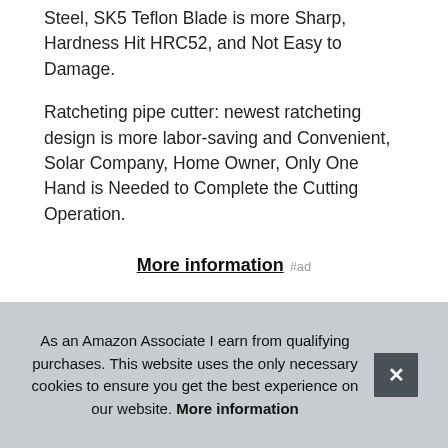Steel, SK5 Teflon Blade is more Sharp, Hardness Hit HRC52, and Not Easy to Damage.
Ratcheting pipe cutter: newest ratcheting design is more labor-saving and Convenient, Solar Company, Home Owner, Only One Hand is Needed to Complete the Cutting Operation.
More information #ad
If you do not like it, Please Contact us, please contact us to refund shipping fee.
Humanized design: soft rubber handle are more Comfortable to Use. Stainless Buckle to Lock the Blades and Prevent to Cut Fingers. Wide Range of Application Scenarios, Suitable for USA...usa...less
As an Amazon Associate I earn from qualifying purchases. This website uses the only necessary cookies to ensure you get the best experience on our website. More information